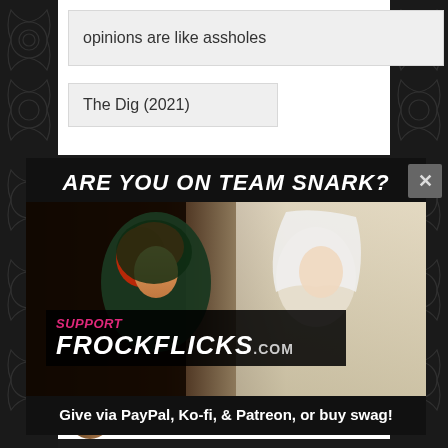opinions are like assholes
The Dig (2021)
ARE YOU ON TEAM SNARK?
[Figure (photo): Two women in period costume facing each other — one with red hair in a dark green hood/cloak, one in white bridal veil attire. Overlaid text reads 'SUPPORT FROCKFLICKS.COM']
Give via PayPal, Ko-fi, & Patreon, or buy swag!
Kendra